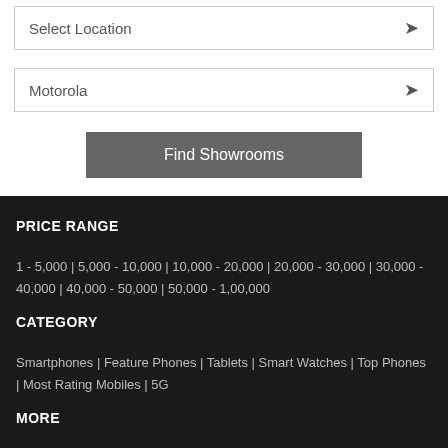Select Location
Motorola
Find Showrooms
PRICE RANGE
1 - 5,000 | 5,000 - 10,000 | 10,000 - 20,000 | 20,000 - 30,000 | 30,000 - 40,000 | 40,000 - 50,000 | 50,000 - 1,00,000
CATEGORY
Smartphones | Feature Phones | Tablets | Smart Watches | Top Phones | Most Rating Mobiles | 5G
MORE
Reviews | News | Upcoming | Rumored | Compare | Showrooms | Service Centers | Advanced Search | Bangla